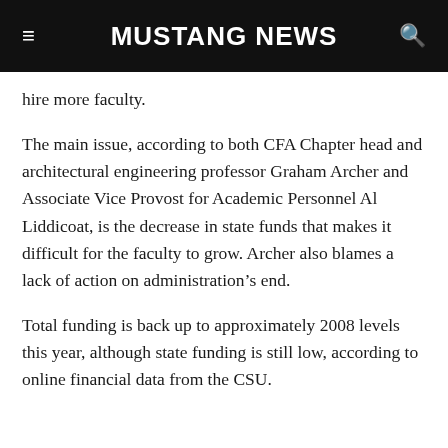MUSTANG NEWS
hire more faculty.
The main issue, according to both CFA Chapter head and architectural engineering professor Graham Archer and Associate Vice Provost for Academic Personnel Al Liddicoat, is the decrease in state funds that makes it difficult for the faculty to grow. Archer also blames a lack of action on administration’s end.
Total funding is back up to approximately 2008 levels this year, although state funding is still low, according to online financial data from the CSU.